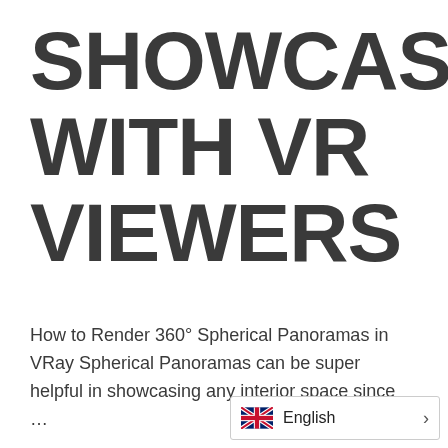SHOWCASE WITH VR VIEWERS
How to Render 360° Spherical Panoramas in VRay Spherical Panoramas can be super helpful in showcasing any interior space since …